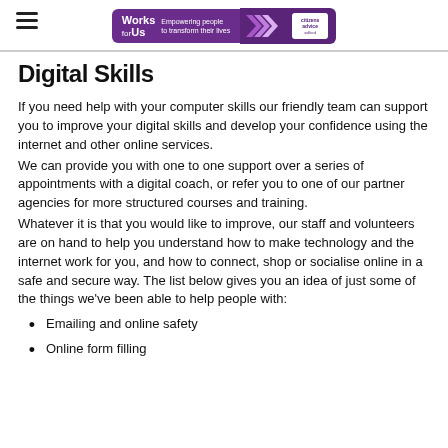Works for Us — Empowering people to transform their lives
Digital Skills
If you need help with your computer skills our friendly team can support you to improve your digital skills and develop your confidence using the internet and other online services.
We can provide you with one to one support over a series of appointments with a digital coach, or refer you to one of our partner agencies for more structured courses and training.
Whatever it is that you would like to improve, our staff and volunteers are on hand to help you understand how to make technology and the internet work for you, and how to connect, shop or socialise online in a safe and secure way. The list below gives you an idea of just some of the things we've been able to help people with:
Emailing and online safety
Online form filling